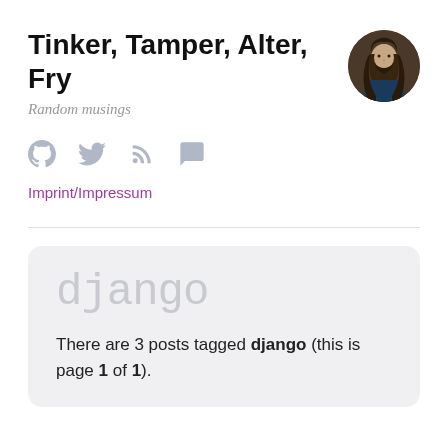Tinker, Tamper, Alter, Fry
Random musings
[Figure (photo): Circular avatar photo of a man with long dark hair and beard]
[Figure (other): Social icons row: GitHub, Twitter, RSS, and chat/comment icons in light grey]
Imprint/Impressum
django
There are 3 posts tagged django (this is page 1 of 1).